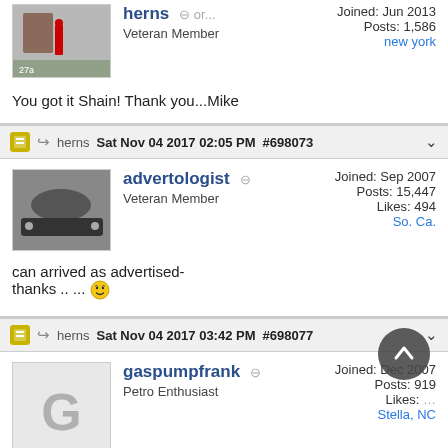herns — Veteran Member | Joined: Jun 2013 | Posts: 1,586 | new york
You got it Shain! Thank you...Mike
herns  Sat Nov 04 2017 02:05 PM  #698073
advertologist — Veteran Member | Joined: Sep 2007 | Posts: 15,447 | Likes: 494 | So. Ca.
can arrived as advertised-
thanks .. ... 😎
herns  Sat Nov 04 2017 03:42 PM  #698077
gaspumpfrank — Petro Enthusiast | Joined: Dec 2007 | Posts: 919 | Likes: … | Stella, NC